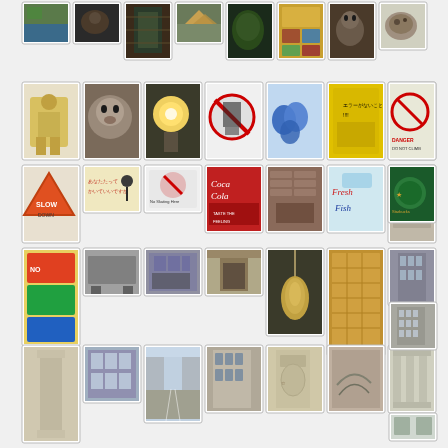[Figure (photo): Grid of thumbnail photos arranged in 5 rows, showing various signs, buildings, animals, and street scenes. Row 1: outdoor scenes with water/nature, animals (cat/raccoon). Row 2: warning signs, caution signs in Japanese and English. Row 3: more signs including 'SLOW DOWN' and 'Fresh Fish'. Row 4: billboard signs, buildings, decorative door. Row 5: architectural details, building facades, street scenes.]